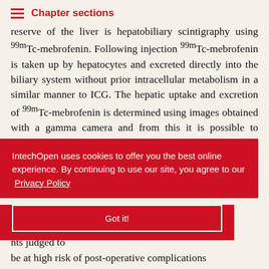Chapter sections
reserve of the liver is hepatobiliary scintigraphy using 99mTc-mebrofenin. Following injection 99mTc-mebrofenin is taken up by hepatocytes and excreted directly into the biliary system without prior intracellular metabolism in a similar manner to ICG. The hepatic uptake and excretion of 99mTc-mebrofenin is determined using images obtained with a gamma camera and from this it is possible to determine the total liver uptake, corrected for body surface area, as a %/min/m² of the total injected dose (referred to as the total liver function or TL-F). ... (LR-F) can be ... ed on uptake
IntechOpen uses cookies to offer you the best online experience. By continuing to use our site, you agree to our Privacy Policy
Got it!
nts judged to be at high risk of post-operative complications